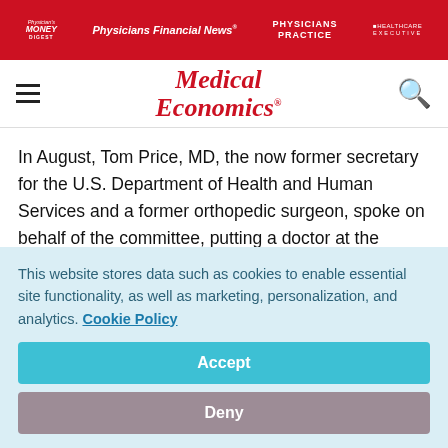Physician's Money Digest | Physicians Financial News | Physicians Practice | Healthcare Executive
[Figure (logo): Medical Economics logo with hamburger menu and search icon]
In August, Tom Price, MD, the now former secretary for the U.S. Department of Health and Human Services and a former orthopedic surgeon, spoke on behalf of the committee, putting a doctor at the forefront of the federal effort.
This website stores data such as cookies to enable essential site functionality, as well as marketing, personalization, and analytics. Cookie Policy
Accept
Deny